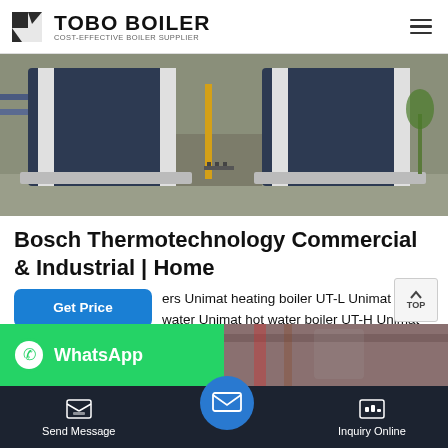TOBO BOILER — COST-EFFECTIVE BOILER SUPPLIER
[Figure (photo): Two large dark blue and white industrial boiler units side by side in a boiler room with concrete flooring, yellow pipe, and palm trees visible outside.]
Bosch Thermotechnology Commercial & Industrial | Home
ers Unimat heating boiler UT-L Unimat hot water Unimat hot water boiler UT-H Unimat hot water boiler UT-HZ Heating boilers Uni Condens 8000 F (50 - 115 kW) Uni Condens 8000 F (145 - 640 kW) Uni Condens 8000 F (800 - 1,20...
Send Message | Inquiry Online